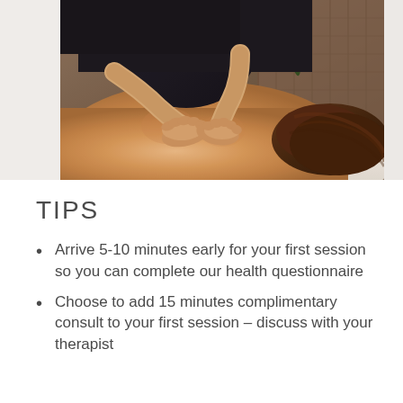[Figure (photo): A massage therapist's hands pressing on the upper back/shoulders of a person lying face down on a massage table. Background shows bamboo/wicker and green plants. Warm lighting.]
TIPS
Arrive 5-10 minutes early for your first session so you can complete our health questionnaire
Choose to add 15 minutes complimentary consult to your first session – discuss with your therapist